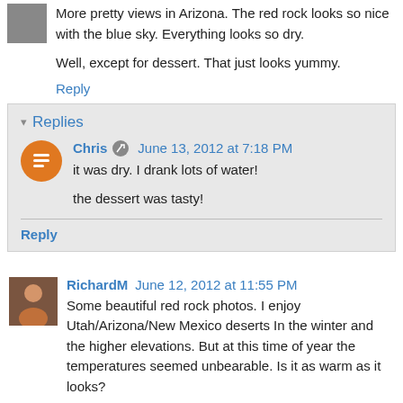More pretty views in Arizona. The red rock looks so nice with the blue sky. Everything looks so dry.
Well, except for dessert. That just looks yummy.
Reply
Replies
Chris  June 13, 2012 at 7:18 PM
it was dry. I drank lots of water!
the dessert was tasty!
Reply
RichardM  June 12, 2012 at 11:55 PM
Some beautiful red rock photos. I enjoy Utah/Arizona/New Mexico deserts In the winter and the higher elevations. But at this time of year the temperatures seemed unbearable. Is it as warm as it looks?